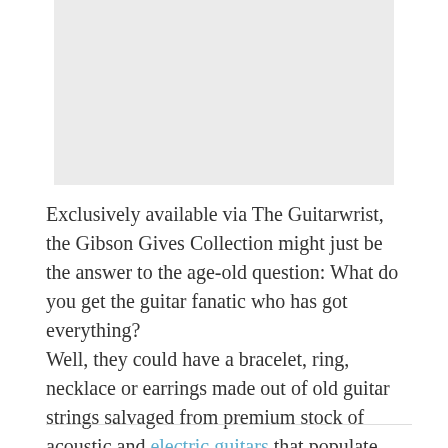[Figure (photo): A light gray rectangular image placeholder at the top of the page]
Exclusively available via The Guitarwrist, the Gibson Gives Collection might just be the answer to the age-old question: What do you get the guitar fanatic who has got everything?
Well, they could have a bracelet, ring, necklace or earrings made out of old guitar strings salvaged from premium stock of acoustic and electric guitars that populate Gibson's London showroom.